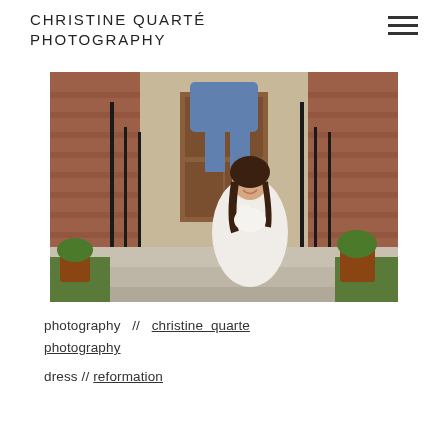CHRISTINE QUARTÉ PHOTOGRAPHY
[Figure (photo): A pregnant woman in a white off-shoulder dress sits on front porch steps holding a small white dog, smiling at the camera. Behind her, a person in jeans bends forward with their head hidden by a jacket. The brick house entrance has black iron railings and potted plants.]
photography  //  christine quarte photography
dress // reformation